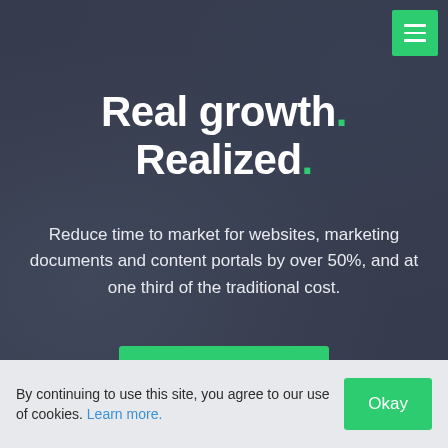Real growth. Realized.
Reduce time to market for websites, marketing documents and content portals by over 50%, and at one third of the traditional cost.
Get Demo
By continuing to use this site, you agree to our use of cookies. Learn more.